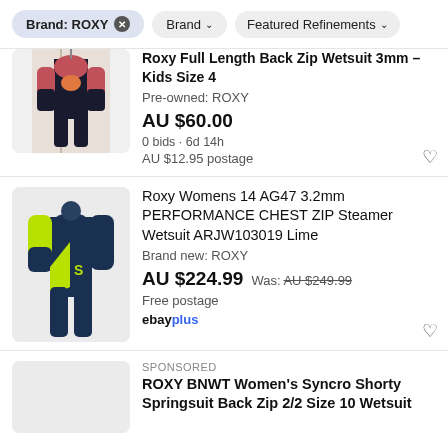Brand: ROXY  Brand  Featured Refinements
[Figure (screenshot): Partial listing: Roxy Full Length Back Zip Wetsuit 3mm – Kids Size 4, pink/black wetsuit on door, AU $60.00, 0 bids, 6d 14h, AU $12.95 postage]
[Figure (photo): Navy/lime green Roxy womens wetsuit on mannequin]
Roxy Womens 14 AG47 3.2mm PERFORMANCE CHEST ZIP Steamer Wetsuit ARJW103019 Lime
Brand new: ROXY
AU $224.99  Was: AU $249.99
Free postage
ebayplus
SPONSORED
ROXY BNWT Women's Syncro Shorty Springsuit Back Zip 2/2 Size 10 Wetsuit